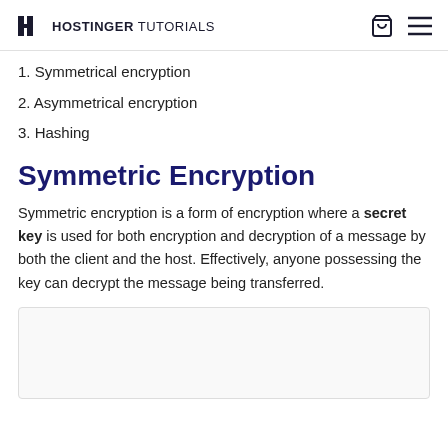HOSTINGER TUTORIALS
1. Symmetrical encryption
2. Asymmetrical encryption
3. Hashing
Symmetric Encryption
Symmetric encryption is a form of encryption where a secret key is used for both encryption and decryption of a message by both the client and the host. Effectively, anyone possessing the key can decrypt the message being transferred.
[Figure (illustration): Illustration box for symmetric encryption diagram (partially visible at bottom)]